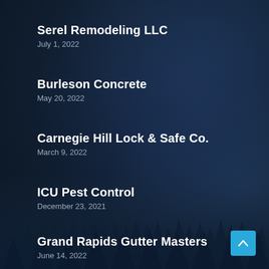Serel Remodeling LLC
July 1, 2022
Burleson Concrete
May 20, 2022
Carnegie Hill Lock & Safe Co.
March 9, 2022
ICU Pest Control
December 23, 2021
Grand Rapids Gutter Masters
June 14, 2022